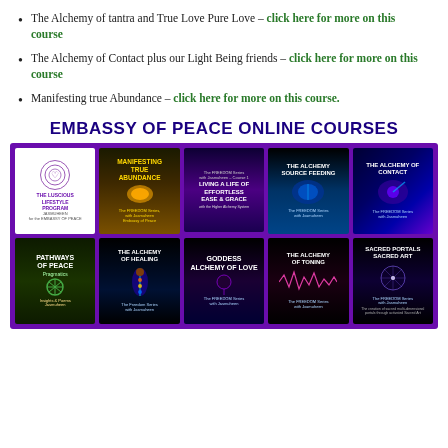The Alchemy of tantra and True Love Pure Love – click here for more on this course
The Alchemy of Contact plus our Light Being friends – click here for more on this course
Manifesting true Abundance – click here for more on this course.
EMBASSY OF PEACE ONLINE COURSES
[Figure (illustration): Grid of 10 online course book/card covers for Embassy of Peace courses including: The Luscious Lifestyle Program, Manifesting True Abundance, Living a life of Effortless Ease & Grace, The Alchemy Source Feeding, The Alchemy of Contact, Pathways of Peace Pragmatics, The Alchemy of Healing, Goddess Alchemy of Love, The Alchemy of Toning, Sacred Portals Sacred Art. All displayed in a purple-bordered grid.]